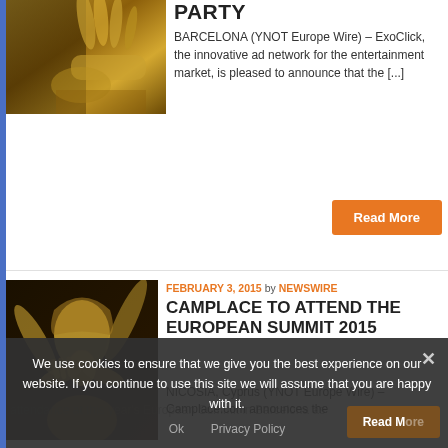[Figure (photo): Gold-painted hands and figure, partial view at top of page]
PARTY
BARCELONA (YNOT Europe Wire) – ExoClick, the innovative ad network for the entertainment market, is pleased to announce that the [...]
Read More
[Figure (photo): Gold-painted woman with hands at neck, looking upward]
FEBRUARY 3, 2015 by NEWSWIRE
CAMPLACE TO ATTEND THE EUROPEAN SUMMIT 2015
NICOSIA, Cyprus (YNOT Europe Wire) – Camplace.com announces the attendance at this year's European Summit in Barcelona as
We use cookies to ensure that we give you the best experience on our website. If you continue to use this site we will assume that you are happy with it.
Ok   Privacy Policy